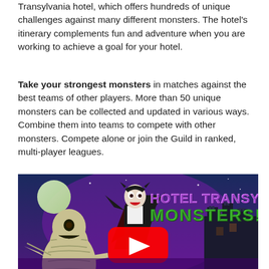Transylvania hotel, which offers hundreds of unique challenges against many different monsters. The hotel's itinerary complements fun and adventure when you are working to achieve a goal for your hotel.
Take your strongest monsters in matches against the best teams of other players. More than 50 unique monsters can be collected and updated in various ways. Combine them into teams to compete with other monsters. Compete alone or join the Guild in ranked, multi-player leagues.
[Figure (screenshot): Hotel Transylvania Monsters game promotional video thumbnail showing Dracula and a mummy character with the YouTube play button overlay, and the text 'Hotel Transylvania Monsters!' in stylized font. Castle in the background under a moonlit purple sky.]